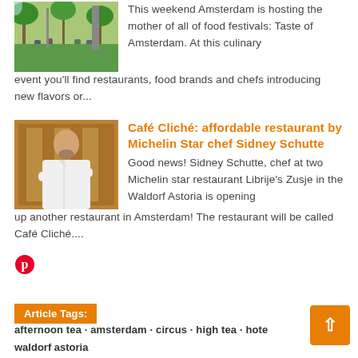[Figure (photo): Outdoor food festival scene with people seated at tables under trees, green foliage background]
This weekend Amsterdam is hosting the mother of all of food festivals: Taste of Amsterdam. At this culinary event you'll find restaurants, food brands and chefs introducing new flavors or...
[Figure (photo): Chef Sidney Schutte in white chef coat with arms crossed, standing in front of a restaurant interior with warm amber lighting]
Café Cliché: affordable restaurant by Michelin Star chef Sidney Schutte
Good news! Sidney Schutte, chef at two Michelin star restaurant Librije's Zusje in the Waldorf Astoria is opening up another restaurant in Amsterdam! The restaurant will be called Café Cliché....
[Figure (logo): Pinterest logo icon (red circle with white P)]
Article Tags: afternoon tea · amsterdam · circus · high tea · hote...
waldorf astoria